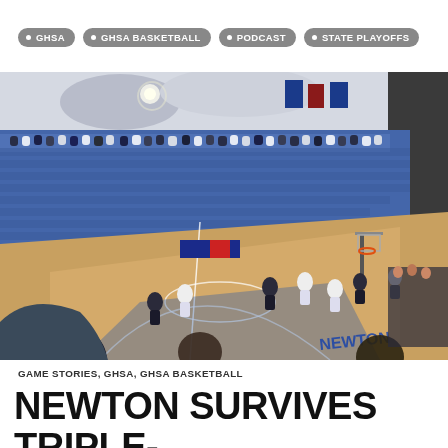GHSA
GHSA BASKETBALL
PODCAST
STATE PLAYOFFS
[Figure (photo): Indoor basketball gymnasium packed with fans in blue bleachers watching a live game on a hardwood court. The court has a blue 'NEWTON' logo. Players in white and dark uniforms are on the court.]
GAME STORIES, GHSA, GHSA BASKETBALL
NEWTON SURVIVES TRIPLE-